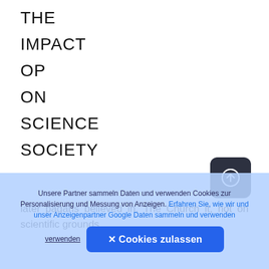THE
IMPACT
OP
ON
SCIENCE
SOCIETY
later pagans believed in. The Church it, not on scientific grounds,
[Figure (other): Dark rounded square button with an upload/arrow-up-circle icon in white]
Unsere Partner sammeln Daten und verwenden Cookies zur Personalisierung und Messung von Anzeigen. Erfahren Sie, wie wir und unser Anzeigenpartner Google Daten sammeln und verwenden
✕ Cookies zulassen